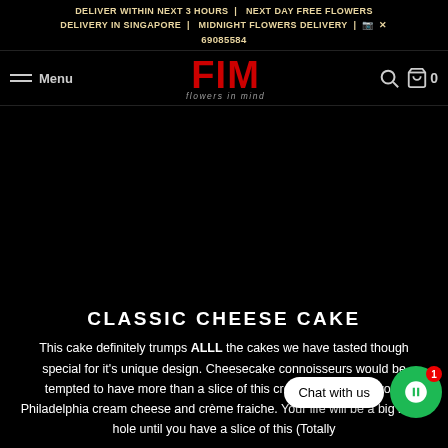DELIVER WITHIN NEXT 3 HOURS | NEXT DAY FREE FLOWERS DELIVERY IN SINGAPORE | MIDNIGHT FLOWERS DELIVERY | 📷 ✕
69085584
[Figure (logo): FIM - Flowers in Mind logo, red bold letters with tagline beneath]
CLASSIC CHEESE CAKE
This cake definitely trumps ALLL the cakes we have tasted though special for it's unique design. Cheesecake connoisseurs would be tempted to have more than a slice of this creamy timeless favo… Philadelphia cream cheese and crème fraiche. Your life will be a big black hole until you have a slice of this (Totally